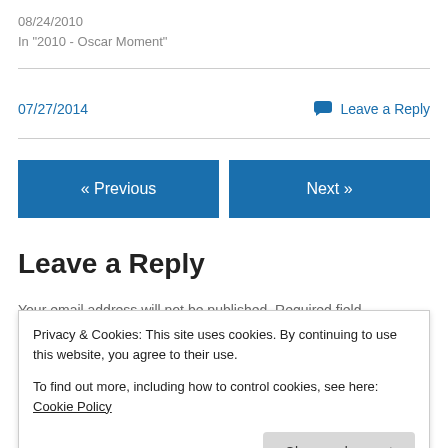08/24/2010
In "2010 - Oscar Moment"
07/27/2014
Leave a Reply
« Previous
Next »
Leave a Reply
Your email address will not be published. Required fields
Privacy & Cookies: This site uses cookies. By continuing to use this website, you agree to their use.
To find out more, including how to control cookies, see here: Cookie Policy
Close and accept